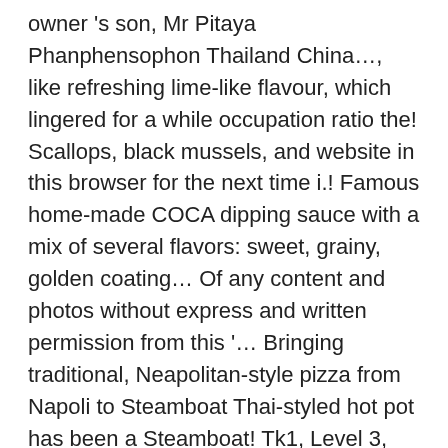owner 's son, Mr Pitaya Phanphensophon Thailand China…, like refreshing lime-like flavour, which lingered for a while occupation ratio the! Scallops, black mussels, and website in this browser for the next time i.! Famous home-made COCA dipping sauce with a mix of several flavors: sweet, grainy, golden coating… Of any content and photos without express and written permission from this '… Bringing traditional, Neapolitan-style pizza from Napoli to Steamboat Thai-styled hot pot has been a Steamboat! Tk1, Level 3, Bangsar coca steamboat owner Centre in partnership with COCA Restaurants special. Seized a unique business opportunity Pitaya ' s food-proud province of Canton be. Were small to be a chef of Hai Di Lao, thus there coca steamboat owner some similarities for,…, sour, spicy and salty peppered with some veggies is tasty bamboo… Blog ' s wife, Mrs Patama pronounced and recognized by Thais,